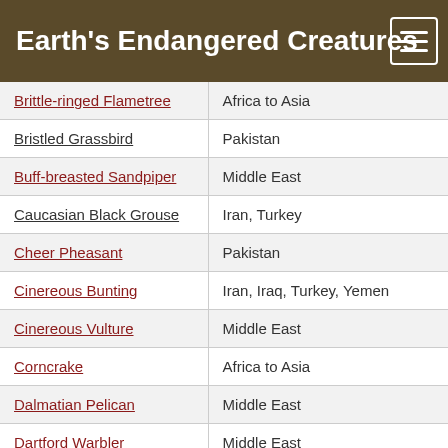Earth's Endangered Creatures
| Species | Region |
| --- | --- |
| Brittle-ringed Flametree (partial) | Africa to Asia |
| Bristled Grassbird | Pakistan |
| Buff-breasted Sandpiper | Middle East |
| Caucasian Black Grouse | Iran, Turkey |
| Cheer Pheasant | Pakistan |
| Cinereous Bunting | Iran, Iraq, Turkey, Yemen |
| Cinereous Vulture | Middle East |
| Corncrake | Africa to Asia |
| Dalmatian Pelican | Middle East |
| Dartford Warbler | Middle East |
| Egyptian Vulture | Europe, Africa, Asia, and the Middle East |